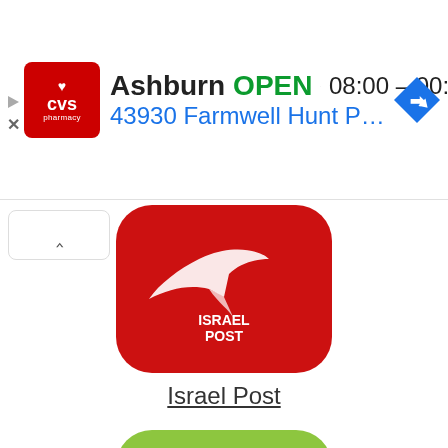[Figure (screenshot): CVS Pharmacy ad banner showing Ashburn location OPEN 08:00-00:00 at 43930 Farmwell Hunt Plaza, Ash... with navigation icon]
[Figure (logo): Israel Post app icon - red rounded square with Israel Post bird and logo]
Israel Post
[Figure (logo): Yodel app icon - green rounded square with YODEL text in white]
Yodel Domestic
[Figure (logo): Third app icon - red rounded square with white and gray arrow/export symbol]